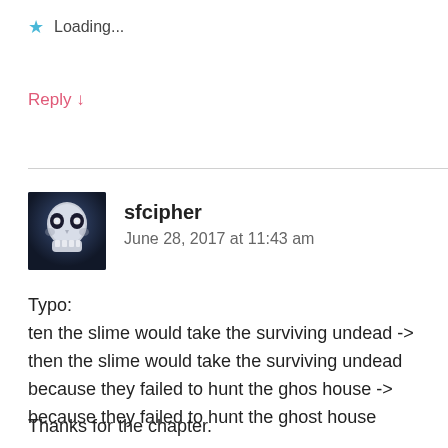★ Loading...
Reply ↓
sfcipher
June 28, 2017 at 11:43 am
Typo:
ten the slime would take the surviving undead -> then the slime would take the surviving undead
because they failed to hunt the ghos house -> because they failed to hunt the ghost house

Thanks for the chapter.